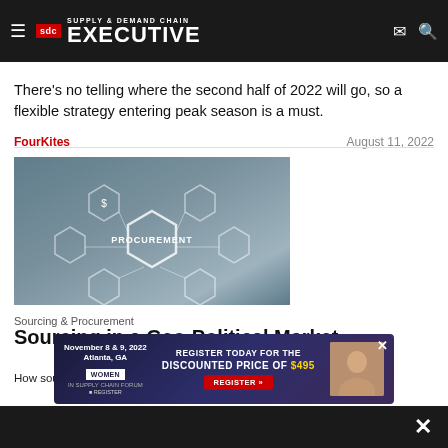Supply & Demand Chain Executive
There's no telling where the second half of 2022 will go, so a flexible strategy entering peak season is a must.
FourKites    August 11, 2022
[Figure (photo): Procurement concept image showing a hand touching a hexagonal network interface with the word PROCUREMENT at center and various supply chain icons around it]
Sourcing & Procurement
Sourcing in a Geo-Political Market
How sour... (sourcing/geo-political discussion affecting supply ch...) ting supply chain...
Columbus Consulting    August 11, 2022